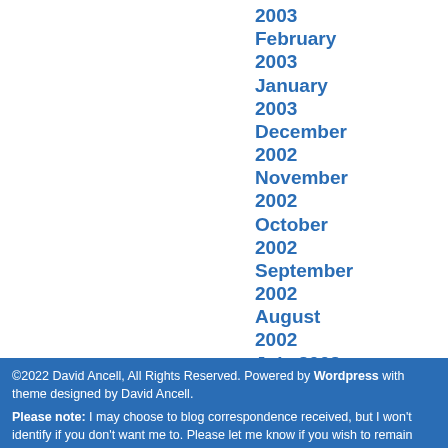2003
February 2003
January 2003
December 2002
November 2002
October 2002
September 2002
August 2002
July 2002
©2022 David Ancell, All Rights Reserved. Powered by Wordpress with theme designed by David Ancell.
Please note: I may choose to blog correspondence received, but I won't identify if you don't want me to. Please let me know if you wish to remain anonymous.